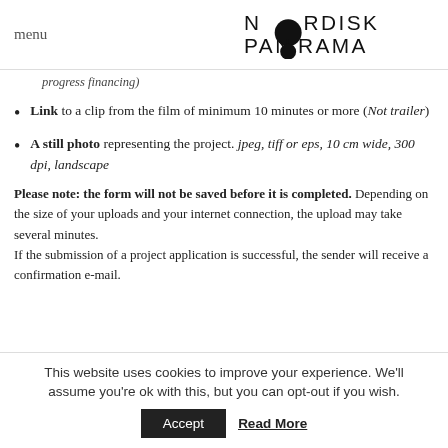menu | NORDISK PANORAMA
progress financing)
Link to a clip from the film of minimum 10 minutes or more (Not trailer)
A still photo representing the project. jpeg, tiff or eps, 10 cm wide, 300 dpi, landscape
Please note: the form will not be saved before it is completed. Depending on the size of your uploads and your internet connection, the upload may take several minutes.
If the submission of a project application is successful, the sender will receive a confirmation e-mail.
This website uses cookies to improve your experience. We'll assume you're ok with this, but you can opt-out if you wish. Accept | Read More